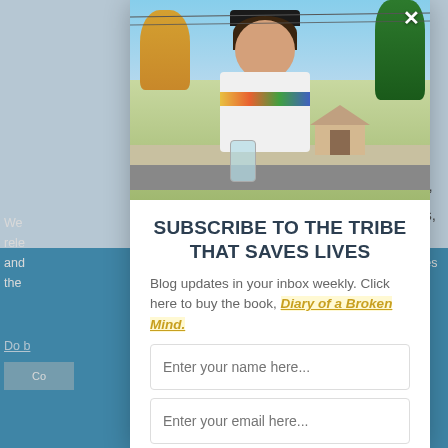[Figure (photo): Young man smiling outdoors holding a drink, wearing a white shirt with colorful stripes and a dark cap, with trees and suburban street in background]
SUBSCRIBE TO THE TRIBE THAT SAVES LIVES
Blog updates in your inbox weekly. Click here to buy the book, Diary of a Broken Mind.
Enter your name here...
Enter your email here...